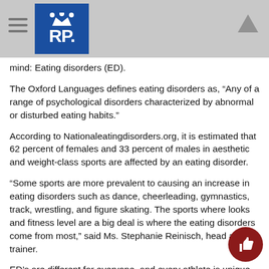RP. [logo with crown]
mind: Eating disorders (ED).
The Oxford Languages defines eating disorders as, “Any of a range of psychological disorders characterized by abnormal or disturbed eating habits.”
According to Nationaleatingdisorders.org, it is estimated that 62 percent of females and 33 percent of males in aesthetic and weight-class sports are affected by an eating disorder.
“Some sports are more prevalent to causing an increase in eating disorders such as dance, cheerleading, gymnastics, track, wrestling, and figure skating. The sports where looks and fitness level are a big deal is where the eating disorders come from most,” said Ms. Stephanie Reinisch, head athletic trainer.
ED’s are different for everyone, and every athlete is unique. Some disorders stem from an obsession over physical appearance, whereas others come from the pressure to perform.
“It’s always important to look at the root of why they may be go…